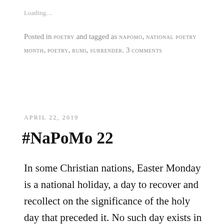Loading…
Posted in POETRY and tagged as NAPOMO, NATIONAL POETRY MONTH, POETRY, RUMI, SURRENDER. 3 COMMENTS
APRIL 22, 2019
#NaPoMo 22
In some Christian nations, Easter Monday is a national holiday, a day to recover and recollect on the significance of the holy day that preceded it. No such day exists in the States, but that's no reason for us not to continue our Easter reflections. Here are a few…